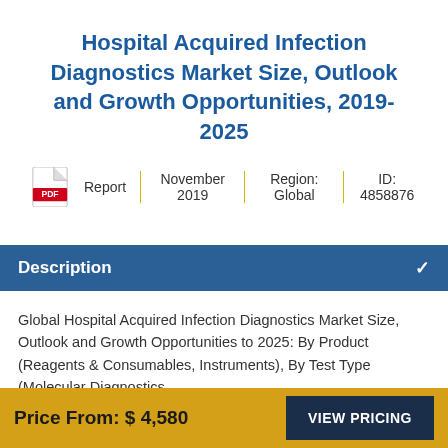Hospital Acquired Infection Diagnostics Market Size, Outlook and Growth Opportunities, 2019- 2025
Report | November 2019 | Region: Global | ID: 4858876
Description
Global Hospital Acquired Infection Diagnostics Market Size, Outlook and Growth Opportunities to 2025: By Product (Reagents & Consumables, Instruments), By Test Type (Molecular Diagnostics, Immunoassay, and Urinalysis), By Application (Drug resistance Testing, By Infection Type (Urinary Tract Infections (UTIs), Surgical Site Infections, Bloodstream Infections)
Price From: $ 4,580
VIEW PRICING